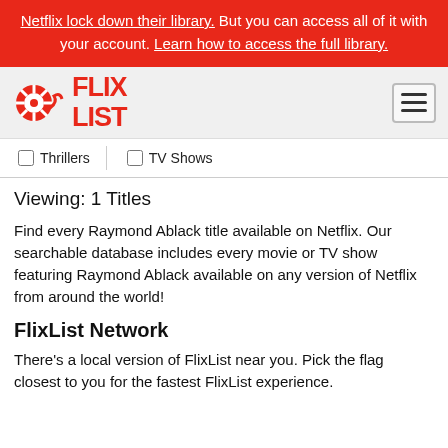Netflix lock down their library. But you can access all of it with your account. Learn how to access the full library.
[Figure (logo): FlixList logo with film reel icon and FLIXLIST text]
Thrillers
TV Shows
Viewing: 1 Titles
Find every Raymond Ablack title available on Netflix. Our searchable database includes every movie or TV show featuring Raymond Ablack available on any version of Netflix from around the world!
FlixList Network
There's a local version of FlixList near you. Pick the flag closest to you for the fastest FlixList experience.